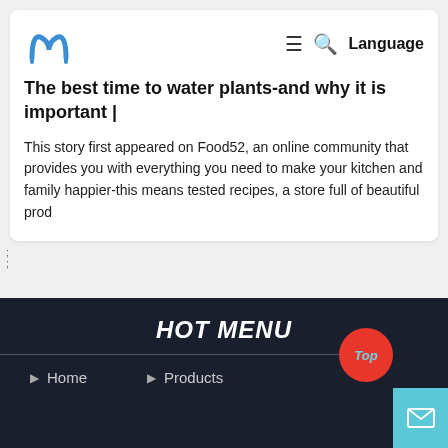[Figure (logo): Blue stylized letter M logo]
The best time to water plants-and why it is important |
This story first appeared on Food52, an online community that provides you with everything you need to make your kitchen and family happier-this means tested recipes, a store full of beautiful prod
;
HOT MENU
Home
Products